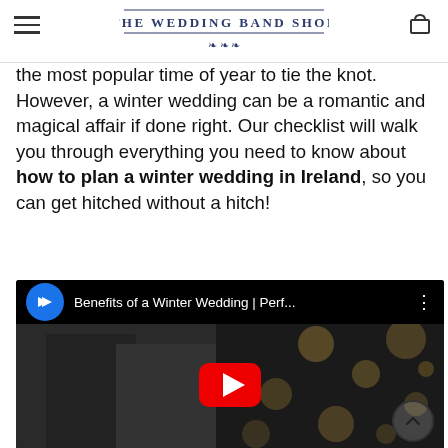THE WEDDING BAND SHOP
the most popular time of year to tie the knot. However, a winter wedding can be a romantic and magical affair if done right. Our checklist will walk you through everything you need to know about how to plan a winter wedding in Ireland, so you can get hitched without a hitch!
[Figure (screenshot): YouTube video embed showing a couple kissing at a winter wedding with bokeh string lights in the background. Video title bar reads: 'Benefits of a Winter Wedding | Perf...' with a YouTube play button overlay.]